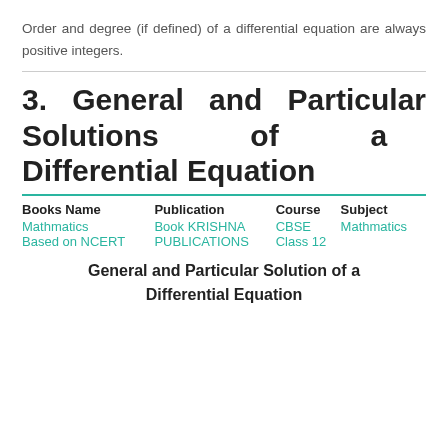Order and degree (if defined) of a differential equation are always positive integers.
3. General and Particular Solutions of a Differential Equation
| Books Name | Publication | Course | Subject |
| --- | --- | --- | --- |
| Mathmatics Based on NCERT | Book KRISHNA PUBLICATIONS | CBSE Class 12 | Mathmatics |
General and Particular Solution of a Differential Equation